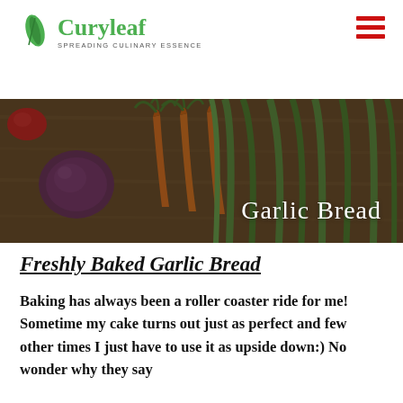Curyleaf — SPREADING CULINARY ESSENCE
[Figure (photo): Hero banner photo showing vegetables including carrots with green stems, a purple/red onion, and tomatoes on a wooden surface, with dark overlay. Text overlay reads 'Garlic Bread'.]
Freshly Baked Garlic Bread
Baking has always been a roller coaster ride for me! Sometime my cake turns out just as perfect and few other times I just have to use it as upside down:) No wonder why they say